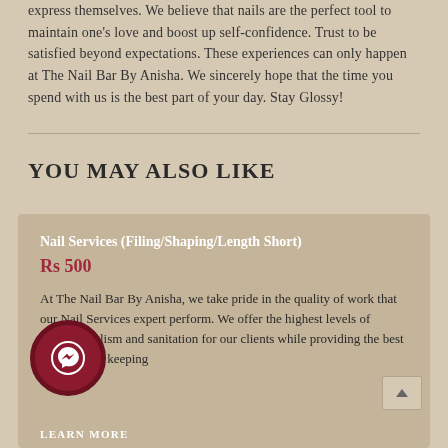express themselves. We believe that nails are the perfect tool to maintain one's love and boost up self-confidence. Trust to be satisfied beyond expectations. These experiences can only happen at The Nail Bar By Anisha. We sincerely hope that the time you spend with us is the best part of your day. Stay Glossy!
YOU MAY ALSO LIKE
Nail Services (Filing/Shaping/Length Short)
Rs 500
At The Nail Bar By Anisha, we take pride in the quality of work that our Nail Services expert perform. We offer the highest levels of professionalism and sanitation for our clients while providing the best services and keeping
LEARN MORE